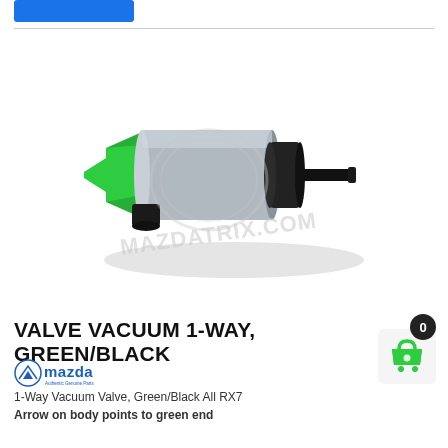[Figure (photo): 1-Way Vacuum Valve with green inlet end and black outlet end, cylindrical gray body. Watermark text 'MAZDATRIX.COM' overlaid on product image.]
VALVE VACUUM 1-WAY, GREEN/BLACK
[Figure (logo): Mazda logo in blue with 'Authentic Genuine Parts' subtitle text]
1-Way Vacuum Valve, Green/Black All RX7
Arrow on body points to green end